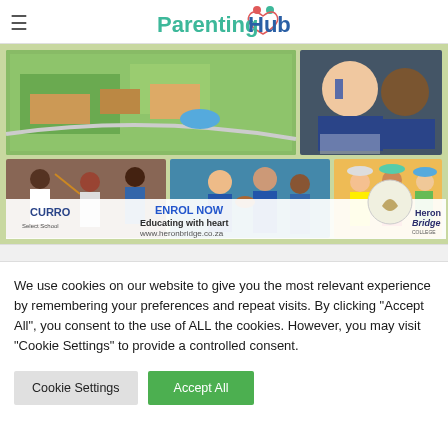ParentingHub
[Figure (photo): HeronBridge College advertisement showing aerial campus view, students at sports and music activities, and children. Text reads: ENROL NOW, Educating with heart, www.heronbridge.co.za, CURRO Select School, HeronBridge COLLEGE]
We use cookies on our website to give you the most relevant experience by remembering your preferences and repeat visits. By clicking “Accept All”, you consent to the use of ALL the cookies. However, you may visit "Cookie Settings" to provide a controlled consent.
Cookie Settings | Accept All